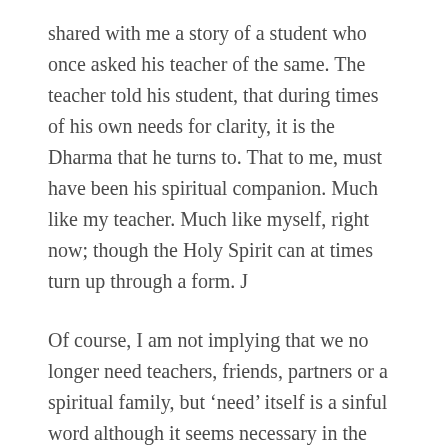shared with me a story of a student who once asked his teacher of the same. The teacher told his student, that during times of his own needs for clarity, it is the Dharma that he turns to. That to me, must have been his spiritual companion. Much like my teacher. Much like myself, right now; though the Holy Spirit can at times turn up through a form. J
Of course, I am not implying that we no longer need teachers, friends, partners or a spiritual family, but ‘need’ itself is a sinful word although it seems necessary in the beginning journey. There is no ‘need’, but a wilful choice to learn from each other and to grow together towards the same path of liberation.
To hold up for others, is to continuously take